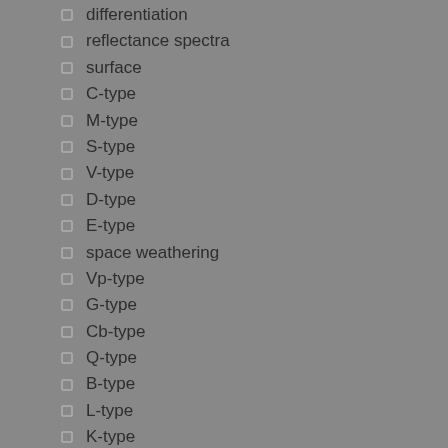differentiation
reflectance spectra
surface
C-type
M-type
S-type
V-type
D-type
E-type
space weathering
Vp-type
G-type
Cb-type
Q-type
B-type
L-type
K-type
P-type